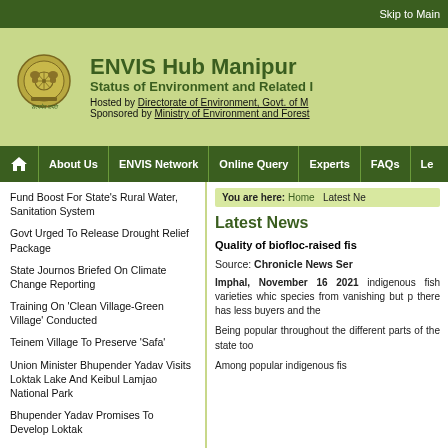Skip to Main
ENVIS Hub Manipur
Status of Environment and Related I
Hosted by Directorate of Environment, Govt. of M
Sponsored by Ministry of Environment and Forest
About Us | ENVIS Network | Online Query | Experts | FAQs | Le
Fund Boost For State's Rural Water, Sanitation System
Govt Urged To Release Drought Relief Package
State Journos Briefed On Climate Change Reporting
Training On 'Clean Village-Green Village' Conducted
Teinem Village To Preserve 'Safa'
Union Minister Bhupender Yadav Visits Loktak Lake And Keibul Lamjao National Park
Bhupender Yadav Promises To Develop Loktak
You are here: Home Latest Ne
Latest News
Quality of biofloc-raised fis
Source: Chronicle News Ser
Imphal, November 16 2021 indigenous fish varieties whic species from vanishing but p there has less buyers and the
Being popular throughout the different parts of the state too
Among popular indigenous fis